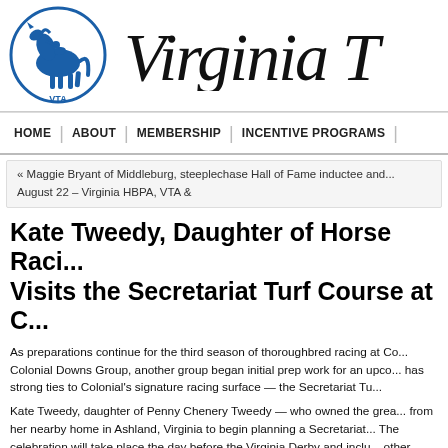[Figure (logo): Virginia Thoroughbred Association logo — blue silhouette of a horse and rider within a circular emblem with letters VTA]
Virginia T
HOME | ABOUT | MEMBERSHIP | INCENTIVE PROGRAMS |
« Maggie Bryant of Middleburg, steeplechase Hall of Fame inductee and... August 22 – Virginia HBPA, VTA &
Kate Tweedy, Daughter of Horse Raci... Visits the Secretariat Turf Course at C...
As preparations continue for the third season of thoroughbred racing at Co... Colonial Downs Group, another group began initial prep work for an upco... has strong ties to Colonial's signature racing surface — the Secretariat Tu...
Kate Tweedy, daughter of Penny Chenery Tweedy — who owned the grea... from her nearby home in Ashland, Virginia to begin planning a Secretariat... The celebration will take place the day before the Virginia Derby and inclu... other aspects to benefit the Secretariat Foundation.